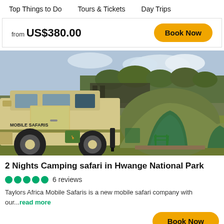Top Things to Do    Tours & Tickets    Day Trips
from US$380.00
Book Now
[Figure (photo): Safari vehicle labeled MOBILE SAFARIS parked on grass next to green camping tents in Hwange National Park]
2 Nights Camping safari in Hwange National Park
●●●●● 6 reviews
Taylors Africa Mobile Safaris is a new mobile safari company with our...read more